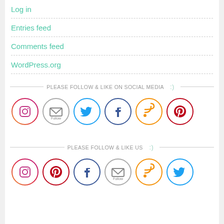Log in
Entries feed
Comments feed
WordPress.org
PLEASE FOLLOW & LIKE ON SOCIAL MEDIA :)
[Figure (infographic): Social media follow icons in circles: Instagram, Follow (email), Twitter, Facebook, RSS, Pinterest]
PLEASE FOLLOW & LIKE US :)
[Figure (infographic): Social media follow icons in circles: Instagram, Pinterest, Facebook, Follow (email), RSS, Twitter]